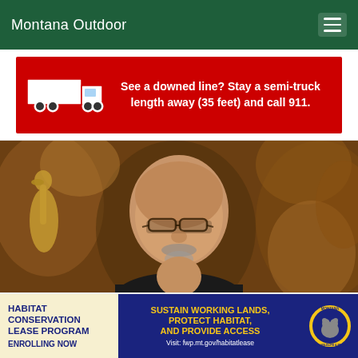Montana Outdoor
[Figure (infographic): Red banner advertisement showing a semi-truck silhouette with text: See a downed line? Stay a semi-truck length away (35 feet) and call 911.]
[Figure (photo): Portrait photo of a middle-aged bald man with glasses and a goatee, wearing dark clothing, in front of a warm brown background with taxidermy or wildlife decor including bird shapes.]
[Figure (infographic): Bottom advertisement in three sections: left section (tan background) reads HABITAT CONSERVATION LEASE PROGRAM ENROLLING NOW in dark blue bold text; center section (dark blue background) reads SUSTAIN WORKING LANDS, PROTECT HABITAT, AND PROVIDE ACCESS in yellow bold text with Visit: fwp.mt.gov/habitatlease below; right section shows Montana Fish Wildlife & Parks circular logo with a bear.]